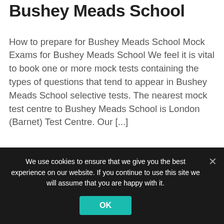Bushey Meads School
How to prepare for Bushey Meads School Mock Exams for Bushey Meads School We feel it is vital to book one or more mock tests containing the types of questions that tend to appear in Bushey Meads School selective tests. The nearest mock test centre to Bushey Meads School is London (Barnet) Test Centre. Our [...]
Mixed
Partially Selective School
Bushey St James
East of England
Hertsmere
We use cookies to ensure that we give you the best experience on our website. If you continue to use this site we will assume that you are happy with it.